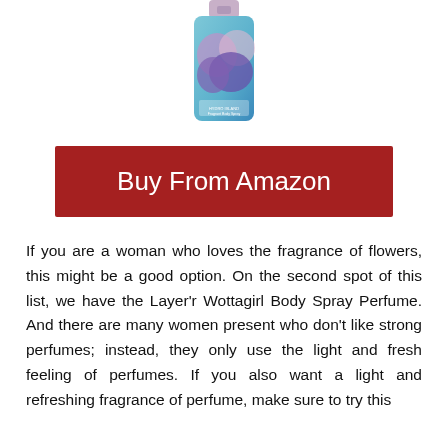[Figure (photo): Product image of Layer'r Wottagirl body spray perfume bottle with teal/blue and purple design]
Buy From Amazon
If you are a woman who loves the fragrance of flowers, this might be a good option. On the second spot of this list, we have the Layer'r Wottagirl Body Spray Perfume. And there are many women present who don't like strong perfumes; instead, they only use the light and fresh feeling of perfumes. If you also want a light and refreshing fragrance of perfume, make sure to try this